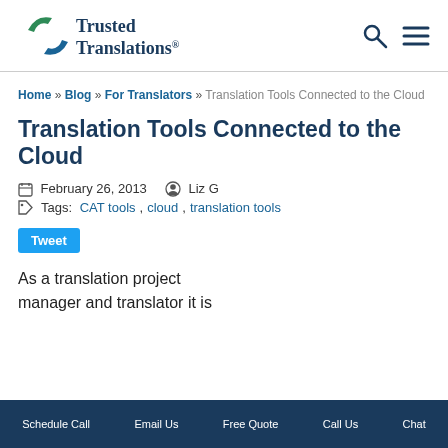[Figure (logo): Trusted Translations logo with blue/green circular arrow icon and company wordmark]
Home » Blog » For Translators » Translation Tools Connected to the Cloud
Translation Tools Connected to the Cloud
February 26, 2013   Liz G
Tags: CAT tools, cloud, translation tools
Tweet
As a translation project manager and translator it is
Schedule Call   Email Us   Free Quote   Call Us   Chat